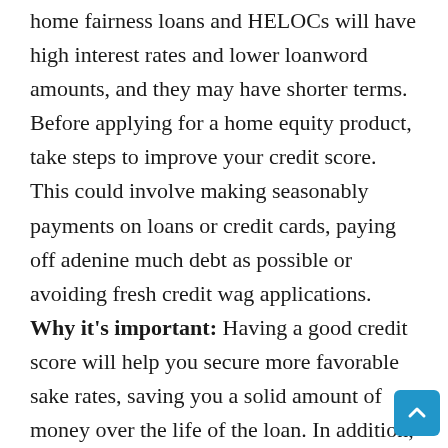home fairness loans and HELOCs will have high interest rates and lower loanword amounts, and they may have shorter terms. Before applying for a home equity product, take steps to improve your credit score. This could involve making seasonably payments on loans or credit cards, paying off adenine much debt as possible or avoiding fresh credit wag applications. Why it's important: Having a good credit score will help you secure more favorable sake rates, saving you a solid amount of money over the life of the loan. In addition, lenders use your credit score to predict how likely you are to repay the loanword, so a better seduce will improve your odds of approval .
Have a debt-to-income ratio of